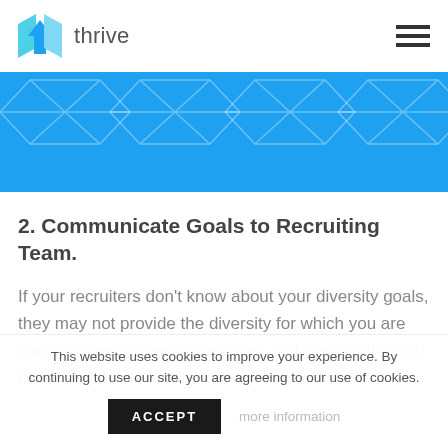[Figure (logo): Thrive logo with blue geometric diamond/house shape and the word 'thrive' in gray sans-serif]
[Figure (illustration): Blue banner with repeating geometric diamond/arrow shapes in a lighter blue, forming a decorative header pattern]
2. Communicate Goals to Recruiting Team.
If your recruiters don't know about your diversity goals, they may not provide the diversity for which you are looking when screening resumes and working through the recruitment process. It's
This website uses cookies to improve your experience. By continuing to use our site, you are agreeing to our use of cookies.